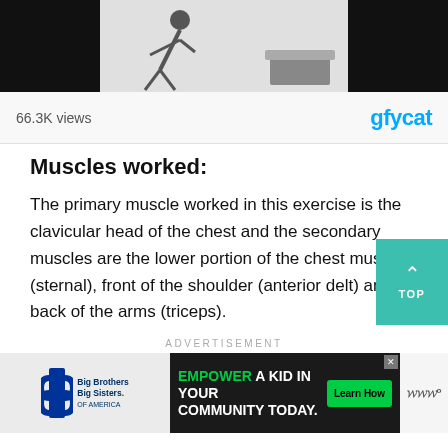[Figure (screenshot): Video thumbnail showing a person doing an incline push-up exercise against a white background, with Gfycat branding]
66.3K views
[Figure (logo): gfycat logo in cyan/blue]
Muscles worked:
The primary muscle worked in this exercise is the clavicular head of the chest and the secondary muscles are the lower portion of the chest muscle (sternal), front of the shoulder (anterior delt) and back of the arms (triceps).
[Figure (other): Teal TOP button with upward arrow]
ADVERTISEMENT
[Figure (other): Advertisement banner: Big Brothers Big Sisters on left, green EMPOWER A KID IN YOUR COMMUNITY TODAY ad in center with Learn How button, weather widget on right]